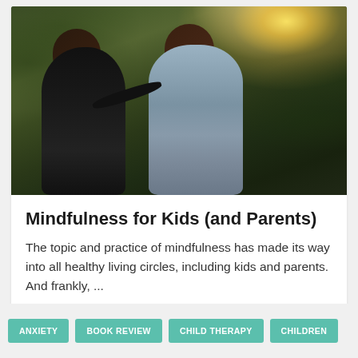[Figure (photo): Two children sitting outdoors with their backs to the camera, one pointing toward the distance, surrounded by nature/foliage with sunlight glare in the upper right corner]
Mindfulness for Kids (and Parents)
The topic and practice of mindfulness has made its way into all healthy living circles, including kids and parents. And frankly, ...
ANXIETY
BOOK REVIEW
CHILD THERAPY
CHILDREN